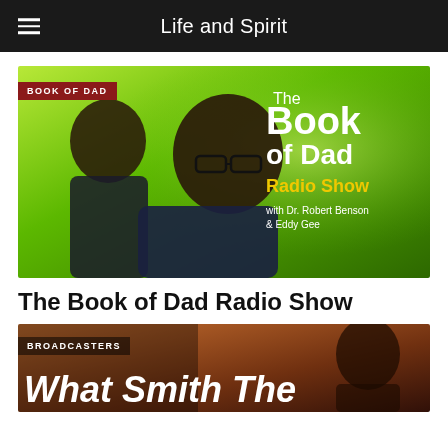Life and Spirit
[Figure (photo): Promotional image for The Book of Dad Radio Show with Dr. Robert Benson and Eddy Gee. Two smiling men on a green background with large white and yellow text reading 'The Book of Dad Radio Show with Dr. Robert Benson & Eddy Gee'. A red tag reads 'BOOK OF DAD'.]
The Book of Dad Radio Show
[Figure (photo): Dark promotional image with a 'BROADCASTERS' tag and large italic white text partially visible at bottom reading 'What Smith The...']